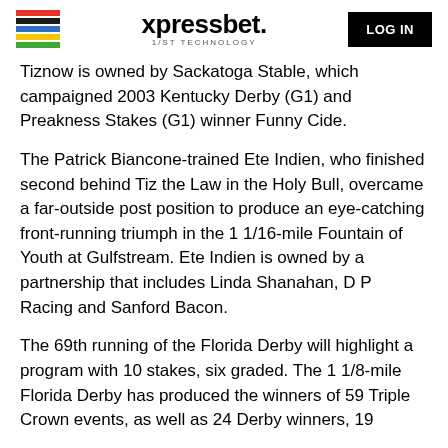xpressbet. 1/ST TECHNOLOGY | LOG IN
Tiznow is owned by Sackatoga Stable, which campaigned 2003 Kentucky Derby (G1) and Preakness Stakes (G1) winner Funny Cide.
The Patrick Biancone-trained Ete Indien, who finished second behind Tiz the Law in the Holy Bull, overcame a far-outside post position to produce an eye-catching front-running triumph in the 1 1/16-mile Fountain of Youth at Gulfstream. Ete Indien is owned by a partnership that includes Linda Shanahan, D P Racing and Sanford Bacon.
The 69th running of the Florida Derby will highlight a program with 10 stakes, six graded. The 1 1/8-mile Florida Derby has produced the winners of 59 Triple Crown events, as well as 24 Derby winners, 19